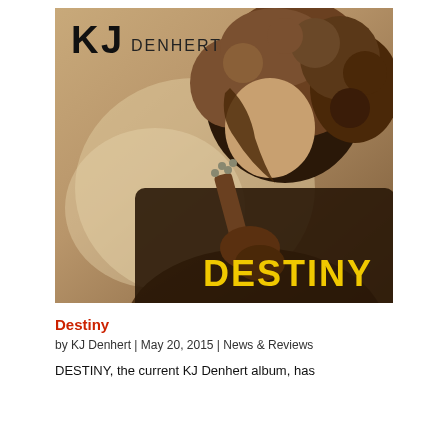[Figure (photo): Album cover for 'Destiny' by KJ Denhert. Sepia-toned photo of a curly-haired musician playing guitar, shown in profile. Top left shows 'KJ DENHERT' logo text in black. Bottom right shows 'DESTINY' in bold yellow text.]
Destiny
by KJ Denhert | May 20, 2015 | News & Reviews
DESTINY, the current KJ Denhert album, has